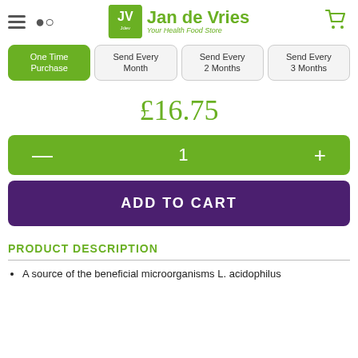[Figure (logo): Jan de Vries – Your Health Food Store logo with green JdV box icon and cart icon]
One Time Purchase | Send Every Month | Send Every 2 Months | Send Every 3 Months
£16.75
— 1 +
ADD TO CART
PRODUCT DESCRIPTION
A source of the beneficial microorganisms L. acidophilus